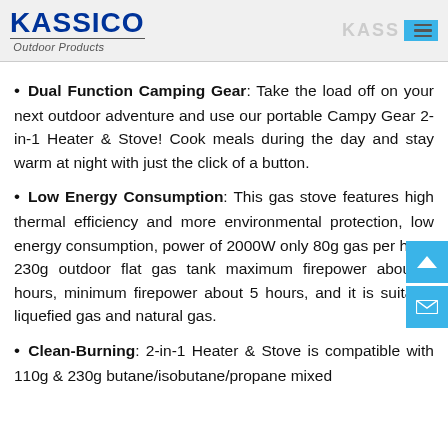KASSICO Outdoor Products
Dual Function Camping Gear: Take the load off on your next outdoor adventure and use our portable Campy Gear 2-in-1 Heater & Stove! Cook meals during the day and stay warm at night with just the click of a button.
Low Energy Consumption: This gas stove features high thermal efficiency and more environmental protection, low energy consumption, power of 2000W only 80g gas per hour, 230g outdoor flat gas tank maximum firepower about 3 hours, minimum firepower about 5 hours, and it is suitable liquefied gas and natural gas.
Clean-Burning: 2-in-1 Heater & Stove is compatible with 110g & 230g butane/isobutane/propane mixed...